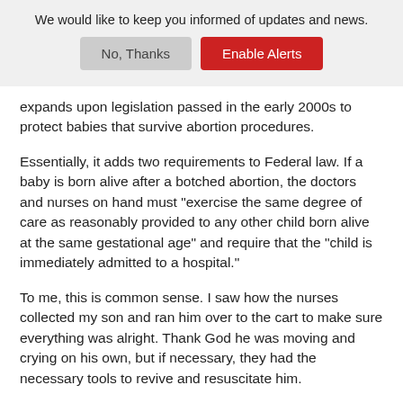We would like to keep you informed of updates and news.
No, Thanks | Enable Alerts
expands upon legislation passed in the early 2000s to protect babies that survive abortion procedures.
Essentially, it adds two requirements to Federal law. If a baby is born alive after a botched abortion, the doctors and nurses on hand must "exercise the same degree of care as reasonably provided to any other child born alive at the same gestational age" and require that the "child is immediately admitted to a hospital."
To me, this is common sense. I saw how the nurses collected my son and ran him over to the cart to make sure everything was alright. Thank God he was moving and crying on his own, but if necessary, they had the necessary tools to revive and resuscitate him.